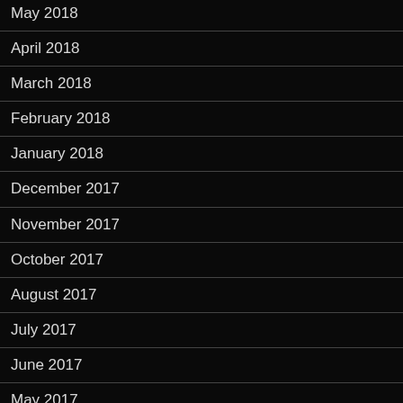May 2018
April 2018
March 2018
February 2018
January 2018
December 2017
November 2017
October 2017
August 2017
July 2017
June 2017
May 2017
April 2017